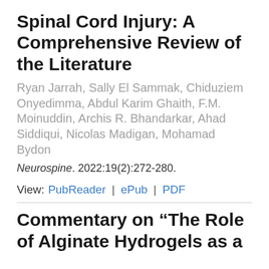Spinal Cord Injury: A Comprehensive Review of the Literature
Ryan Jarrah, Sally El Sammak, Chiduziem Onyedimma, Abdul Karim Ghaith, F.M. Moinuddin, Archis R. Bhandarkar, Ahad Siddiqui, Nicolas Madigan, Mohamad Bydon
Neurospine. 2022:19(2):272-280.
View: PubReader | ePub | PDF
Commentary on “The Role of Alginate Hydrogels as a